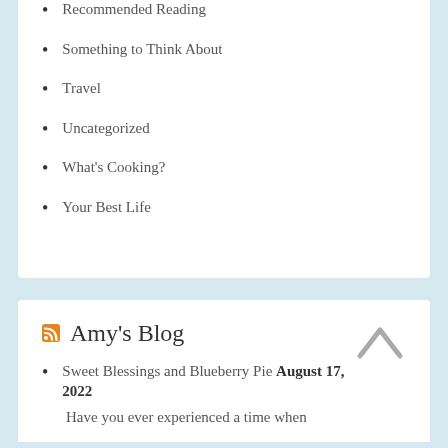Recommended Reading
Something to Think About
Travel
Uncategorized
What's Cooking?
Your Best Life
Amy's Blog
Sweet Blessings and Blueberry Pie August 17, 2022
Have you ever experienced a time when